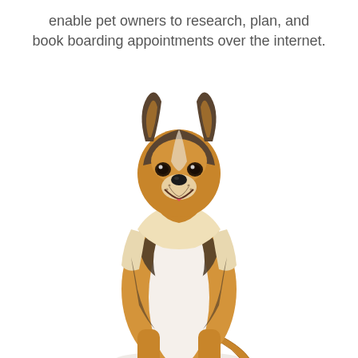enable pet owners to research, plan, and book boarding appointments over the internet.
[Figure (photo): A Shetland Sheepdog (Sheltie) sitting upright facing forward on a white background, with golden-brown, white, and dark fur, ears alert, and mouth open in a happy expression.]